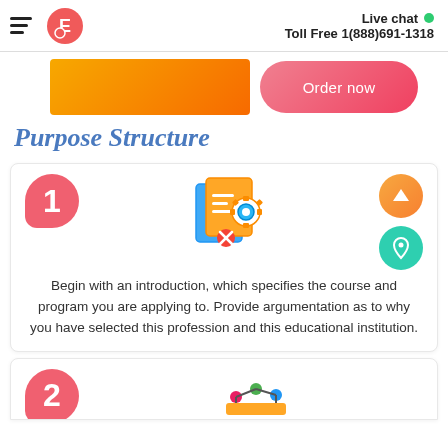Live chat  Toll Free 1(888)691-1318
[Figure (illustration): Orange gradient rectangle banner and coral pink 'Order now' button]
Purpose Structure
[Figure (illustration): Number 1 badge (coral pink), document/settings icon in orange and blue, up-arrow button (orange), chat/location button (teal)]
Begin with an introduction, which specifies the course and program you are applying to. Provide argumentation as to why you have selected this profession and this educational institution.
[Figure (illustration): Number 2 badge (coral pink), partial icon visible at bottom]